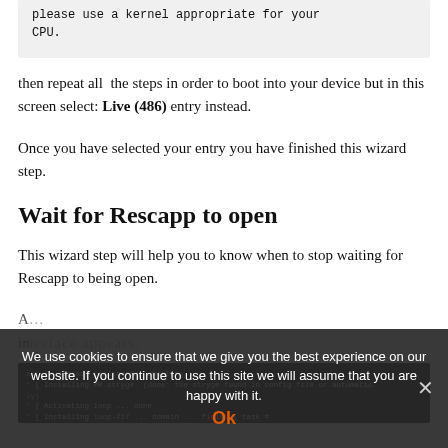please use a kernel appropriate for your CPU.
then repeat all the steps in order to boot into your device but in this screen select: Live (486) entry instead.
Once you have selected your entry you have finished this wizard step.
Wait for Rescapp to open
This wizard step will help you to know when to stop waiting for Rescapp to being open.
A ... interface appears.
[Figure (screenshot): Terminal screenshot showing lines of boot/system output text in white on black background]
We use cookies to ensure that we give you the best experience on our website. If you continue to use this site we will assume that you are happy with it.